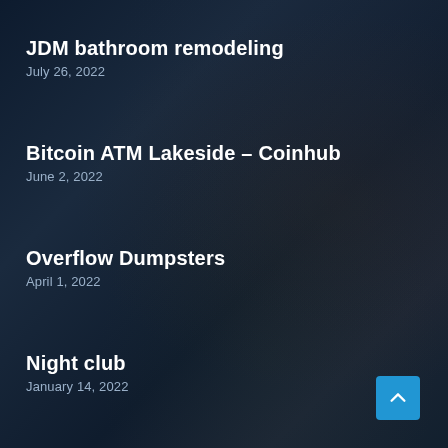JDM bathroom remodeling
July 26, 2022
Bitcoin ATM Lakeside – Coinhub
June 2, 2022
Overflow Dumpsters
April 1, 2022
Night club
January 14, 2022
Overland Park Tow Team
March 4, 2022